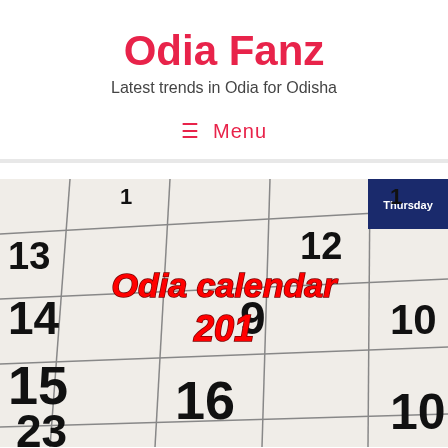Odia Fanz
Latest trends in Odia for Odisha
≡ Menu
[Figure (photo): Close-up photograph of a calendar showing dates 1, 9, 10, 12, 13, 14, 15, 16, 23 with bold black numbers on white paper grid, with a dark blue 'Thursday' header visible in top right. Overlaid text reads 'Odia calendar 201' in red bold italic font with dark outline.]